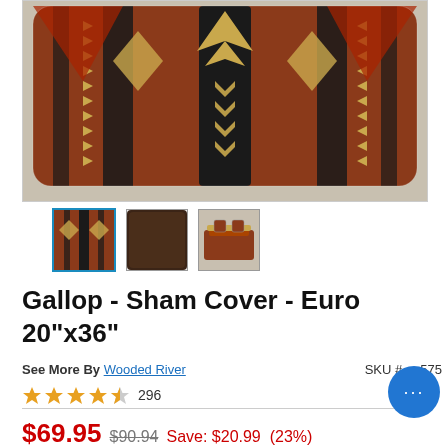[Figure (photo): Main product photo of a decorative pillow sham with red, black, and tan Native American/Southwestern geometric pattern including arrows and diamond shapes]
[Figure (photo): Three thumbnail images: (1) same red/black/tan patterned pillow sham, (2) dark brown leather-look pillow, (3) full bed scene with red Southwestern bedding set]
Gallop - Sham Cover - Euro 20"x36"
See More By Wooded River    SKU #...575
★★★★½  296
$69.95  $90.94  Save: $20.99  (23%)